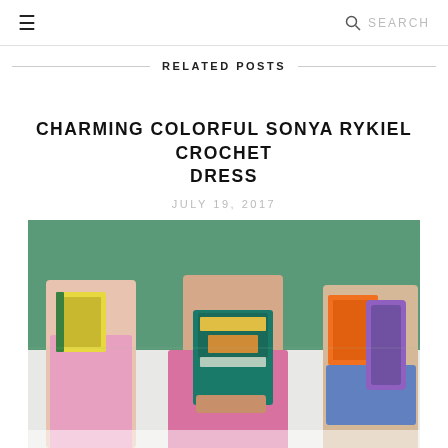≡  SEARCH
RELATED POSTS
CHARMING COLORFUL SONYA RYKIEL CROCHET DRESS
JULY 19, 2017
[Figure (photo): Children holding books including 'Hop on Pop' by Dr. Seuss in a classroom setting with a green chalkboard background]